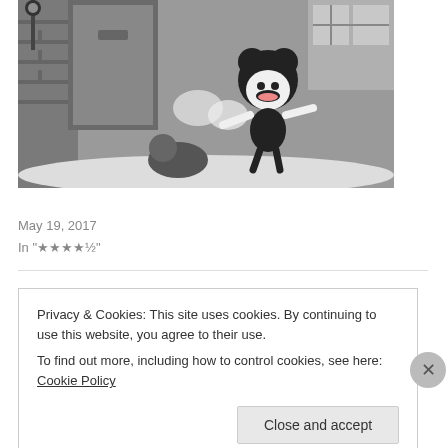[Figure (illustration): Black and white still from Mickey's Good Deed cartoon showing Mickey Mouse and other characters in a winter street scene]
Mickey's Good Deed
May 19, 2017
In "★★★★½"
Privacy & Cookies: This site uses cookies. By continuing to use this website, you agree to their use.
To find out more, including how to control cookies, see here: Cookie Policy
Close and accept